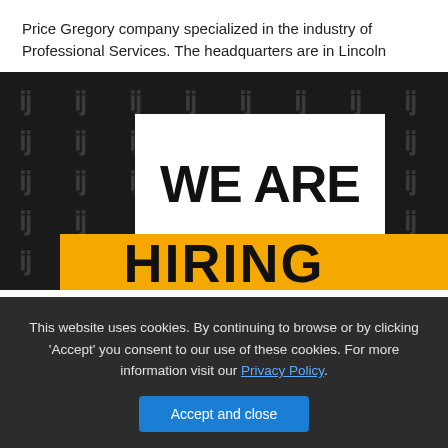Price Gregory company specialized in the industry of Professional Services. The headquarters are in Lincoln
[Figure (photo): A dark background with repeated yellow/grey Arabic-looking characters pattern, with a large white speech bubble containing bold black text 'WE ARE' and a yellow banner at the bottom partially showing 'HIRING']
This website uses cookies. By continuing to browse or by clicking 'Accept' you consent to our use of these cookies. For more information visit our Privacy Policy.